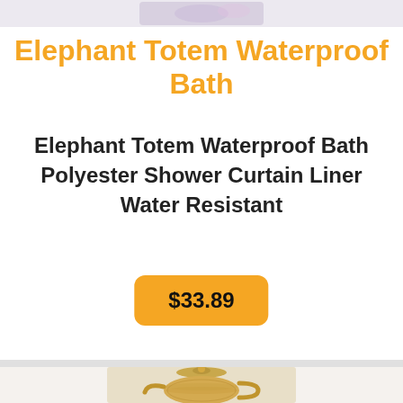[Figure (photo): Partial product image visible at top of page, cropped]
Elephant Totem Waterproof Bath
Elephant Totem Waterproof Bath Polyester Shower Curtain Liner Water Resistant
$33.89
[Figure (photo): Gold/bronze decorative teapot or sugar bowl with lid and handle, partially visible at bottom of page]